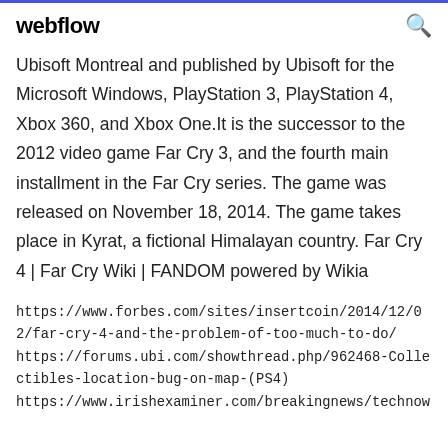webflow
Ubisoft Montreal and published by Ubisoft for the Microsoft Windows, PlayStation 3, PlayStation 4, Xbox 360, and Xbox One.It is the successor to the 2012 video game Far Cry 3, and the fourth main installment in the Far Cry series. The game was released on November 18, 2014. The game takes place in Kyrat, a fictional Himalayan country. Far Cry 4 | Far Cry Wiki | FANDOM powered by Wikia
https://www.forbes.com/sites/insertcoin/2014/12/02/far-cry-4-and-the-problem-of-too-much-to-do/ https://forums.ubi.com/showthread.php/962468-Collectibles-location-bug-on-map-(PS4) https://www.irishexaminer.com/breakingnews/technow